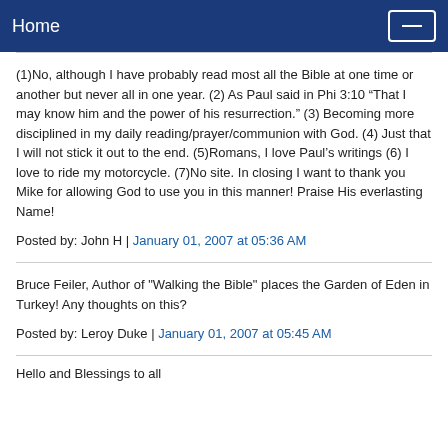Home
(1)No, although I have probably read most all the Bible at one time or another but never all in one year. (2) As Paul said in Phi 3:10 “That I may know him and the power of his resurrection.” (3) Becoming more disciplined in my daily reading/prayer/communion with God. (4) Just that I will not stick it out to the end. (5)Romans, I love Paul’s writings (6) I love to ride my motorcycle. (7)No site. In closing I want to thank you Mike for allowing God to use you in this manner! Praise His everlasting Name!
Posted by: John H | January 01, 2007 at 05:36 AM
Bruce Feiler, Author of "Walking the Bible" places the Garden of Eden in Turkey! Any thoughts on this?
Posted by: Leroy Duke | January 01, 2007 at 05:45 AM
Hello and Blessings to all